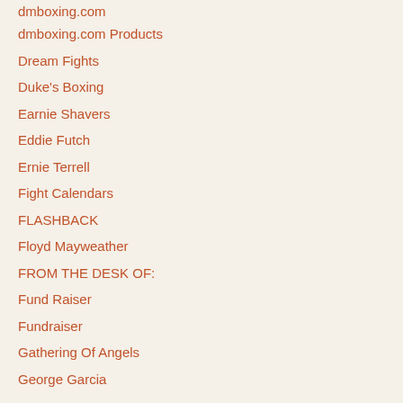dmboxing.com
dmboxing.com Products
Dream Fights
Duke's Boxing
Earnie Shavers
Eddie Futch
Ernie Terrell
Fight Calendars
FLASHBACK
Floyd Mayweather
FROM THE DESK OF:
Fund Raiser
Fundraiser
Gathering Of Angels
George Garcia